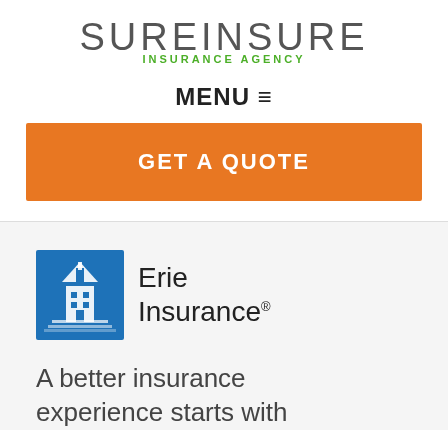[Figure (logo): SureInsure Insurance Agency logo — large gray sans-serif text 'SUREINSURE' with green 'INSURANCE AGENCY' below]
MENU ☰
GET A QUOTE
[Figure (logo): Erie Insurance logo — blue box with illustrated building/steeple icon on left, 'Erie Insurance' in dark text with registered trademark symbol on right]
A better insurance experience starts with